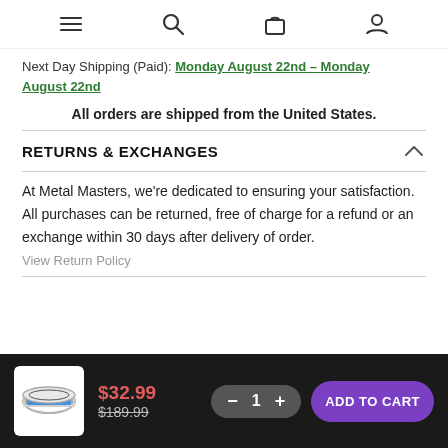Navigation bar with menu, search, cart, and account icons
Next Day Shipping (Paid): Monday August 22nd – Monday August 22nd
All orders are shipped from the United States.
RETURNS & EXCHANGES
At Metal Masters, we're dedicated to ensuring your satisfaction. All purchases can be returned, free of charge for a refund or an exchange within 30 days after delivery of order.
View Return Policy
$32.99  $189.99  1  ADD TO CART